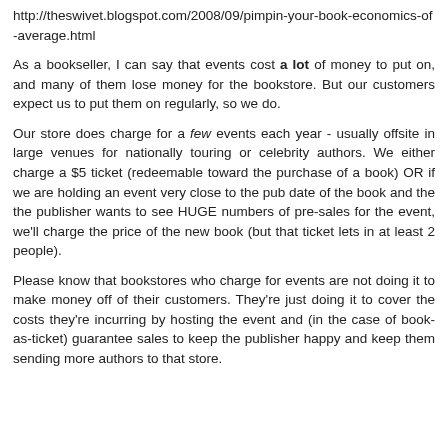http://theswivet.blogspot.com/2008/09/pimpin-your-book-economics-of-average.html
As a bookseller, I can say that events cost a lot of money to put on, and many of them lose money for the bookstore. But our customers expect us to put them on regularly, so we do.
Our store does charge for a few events each year - usually offsite in large venues for nationally touring or celebrity authors. We either charge a $5 ticket (redeemable toward the purchase of a book) OR if we are holding an event very close to the pub date of the book and the the publisher wants to see HUGE numbers of pre-sales for the event, we'll charge the price of the new book (but that ticket lets in at least 2 people).
Please know that bookstores who charge for events are not doing it to make money off of their customers. They're just doing it to cover the costs they're incurring by hosting the event and (in the case of book-as-ticket) guarantee sales to keep the publisher happy and keep them sending more authors to that store.